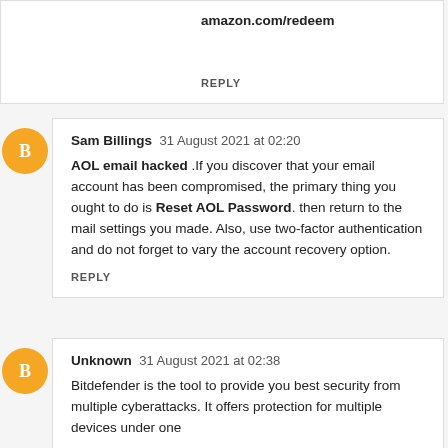amazon.com/redeem
REPLY
Sam Billings  31 August 2021 at 02:20
AOL email hacked .If you discover that your email account has been compromised, the primary thing you ought to do is Reset AOL Password. then return to the mail settings you made. Also, use two-factor authentication and do not forget to vary the account recovery option.
REPLY
Unknown  31 August 2021 at 02:38
Bitdefender is the tool to provide you best security from multiple cyberattacks. It offers protection for multiple devices under one